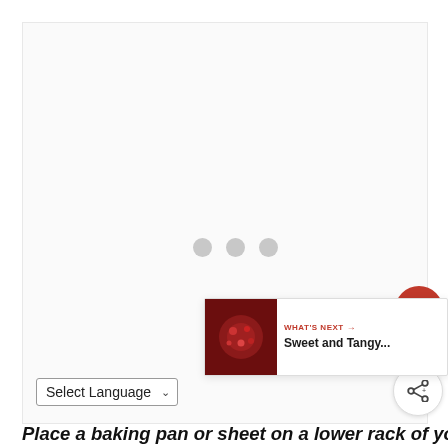[Figure (photo): Large white/light gray image area with three gray loading dots in the center, representing a loading image placeholder on a recipe webpage]
[Figure (illustration): Red circular heart/favorite button on the right side]
2
[Figure (illustration): Share button (circle with share icon) on the right side]
[Figure (photo): Small thumbnail image showing Sweet and Tangy dish in the What's Next bar]
WHAT'S NEXT → Sweet and Tangy...
Select Language ∨
Place a baking pan or sheet on a lower rack of your